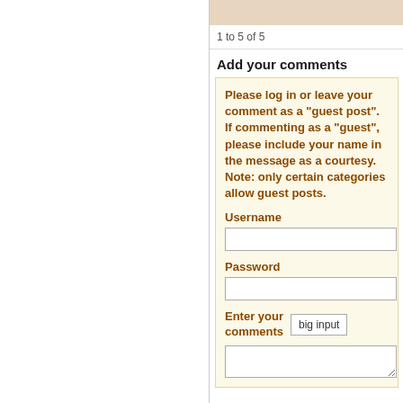1 to 5 of 5
Add your comments
Please log in or leave your comment as a "guest post". If commenting as a "guest", please include your name in the message as a courtesy. Note: only certain categories allow guest posts.
Username
Password
Enter your comments
big input